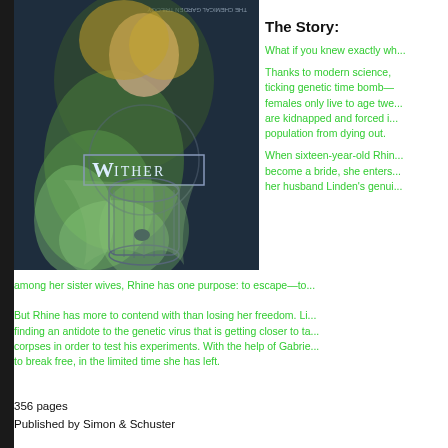[Figure (illustration): Book cover for 'Wither' by Lauren DeStefano, part of The Chemical Garden Trilogy. Shows a young woman in a green feathery dress with a birdcage, dark blue background.]
The Story:
What if you knew exactly wh...
Thanks to modern science, ... ticking genetic time bomb—... females only live to age twe... are kidnapped and forced i... population from dying out.
When sixteen-year-old Rhin... become a bride, she enters... her husband Linden's genui... among her sister wives, Rhine has one purpose: to escape—to...
But Rhine has more to contend with than losing her freedom. Li... finding an antidote to the genetic virus that is getting closer to ta... corpses in order to test his experiments. With the help of Gabrie... to break free, in the limited time she has left.
356 pages
Published by Simon & Schuster